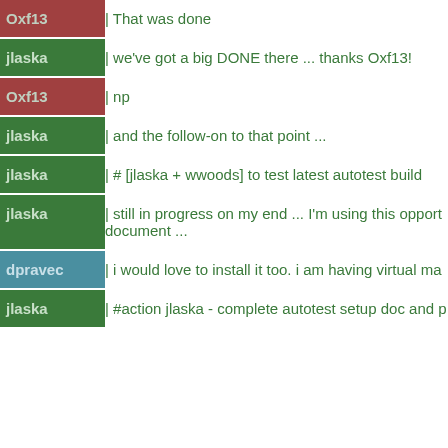Oxf13 | That was done
jlaska | we've got a big DONE there ... thanks Oxf13!
Oxf13 | np
jlaska | and the follow-on to that point ...
jlaska | # [jlaska + wwoods] to test latest autotest build
jlaska | still in progress on my end ... I'm using this opport document ...
dpravec | i would love to install it too. i am having virtual ma
jlaska | #action jlaska - complete autotest setup doc and p